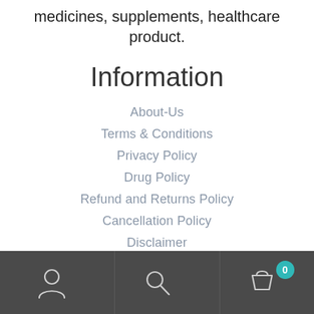medicines, supplements, healthcare product.
Information
About-Us
Terms & Conditions
Privacy Policy
Drug Policy
Refund and Returns Policy
Cancellation Policy
Disclaimer
Categories
[Figure (screenshot): Bottom navigation bar with user profile icon, search icon, and shopping cart icon with badge showing 0]